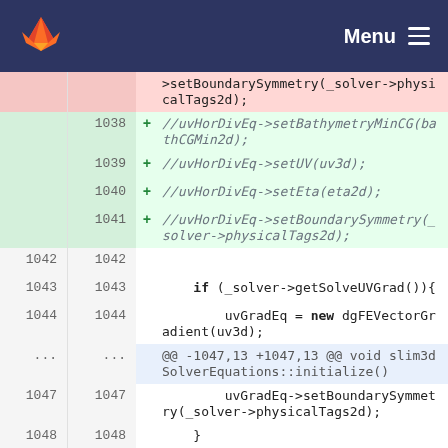GitLab — Menu
| line-old | line-new | sign | code |
| --- | --- | --- | --- |
|  |  |  | >setBoundarySymmetry(_solver->physicalTags2d); |
| 1038 |  | + | //uvHorDivEq->setBathymetryMinCG(bathCGMin2d); |
| 1039 |  | + | //uvHorDivEq->setUV(uv3d); |
| 1040 |  | + | //uvHorDivEq->setEta(eta2d); |
| 1041 |  | + | //uvHorDivEq->setBoundarySymmetry(_solver->physicalTags2d); |
| 1042 | 1042 |  |  |
| 1043 | 1043 |  | if (_solver->getSolveUVGrad()){ |
| 1044 | 1044 |  | uvGradEq = new dgFEVectorGradient(uv3d); |
| ... | ... |  | @@ -1047,13 +1047,13 @@ void slim3dSolverEquations::initialize() |
| 1047 | 1047 |  | uvGradEq->setBoundarySymmetry(_solver->physicalTags2d); |
| 1048 | 1048 |  |     } |
| 1049 | 1049 |  |  |